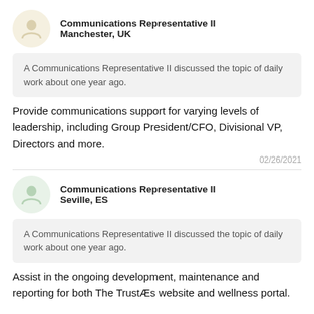Communications Representative II
Manchester, UK
A Communications Representative II discussed the topic of daily work about one year ago.
Provide communications support for varying levels of leadership, including Group President/CFO, Divisional VP, Directors and more.
02/26/2021
Communications Representative II
Seville, ES
A Communications Representative II discussed the topic of daily work about one year ago.
Assist in the ongoing development, maintenance and reporting for both The TrustÆs website and wellness portal.